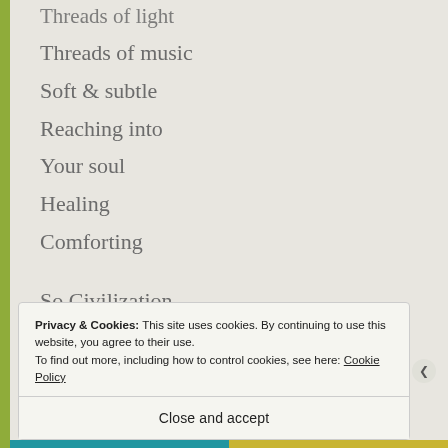Threads of light
Threads of music
Soft & subtle
Reaching into
Your soul
Healing
Comforting
So Civilization
Rebirths herself
In the black and white
Shape of a Magpie
Privacy & Cookies: This site uses cookies. By continuing to use this website, you agree to their use. To find out more, including how to control cookies, see here: Cookie Policy
Close and accept